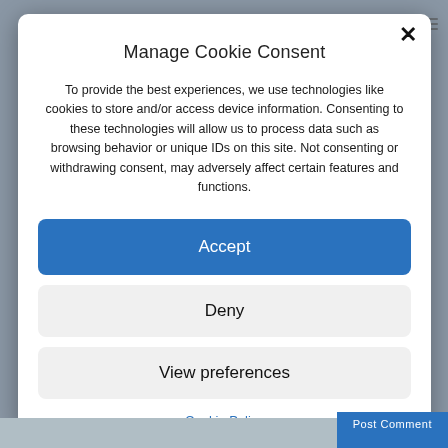Manage Cookie Consent
To provide the best experiences, we use technologies like cookies to store and/or access device information. Consenting to these technologies will allow us to process data such as browsing behavior or unique IDs on this site. Not consenting or withdrawing consent, may adversely affect certain features and functions.
Accept
Deny
View preferences
Cookie Policy
Post Comment